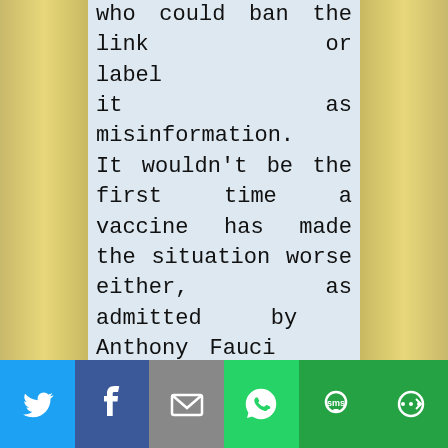who could ban the link or label it as misinformation. It wouldn't be the first time a vaccine has made the situation worse either, as admitted by Anthony Fauci early in the pandemic. As I reported December 15th, Fauci said during a Facebook Live event with Mark Zuckerberg in March 2020 that vaccine development must include the potential that
[Figure (infographic): Social media share bar with Twitter, Facebook, Email, WhatsApp, SMS, and More buttons]